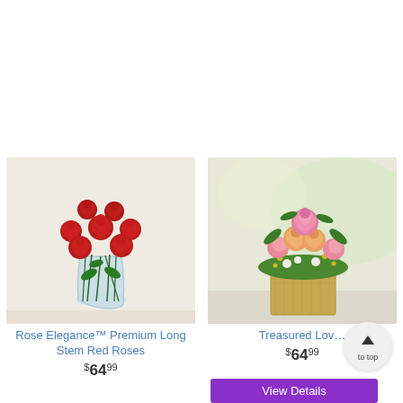[Figure (photo): Red roses in a clear glass vase with baby's breath and green leaves — Rose Elegance Premium Long Stem Red Roses product photo]
Rose Elegance™ Premium Long Stem Red Roses
$64.99
[Figure (photo): Mixed pastel flower arrangement with peach and pink roses, pink carnations, and green accents in a burlap-wrapped square vase — Treasured Love product photo]
Treasured Lov...
$64.99
View Details